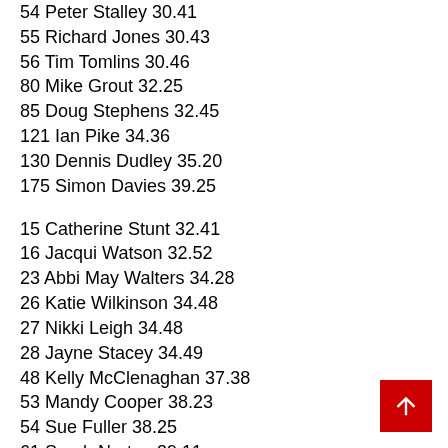54 Peter Stalley 30.41
55 Richard Jones 30.43
56 Tim Tomlins 30.46
80 Mike Grout 32.25
85 Doug Stephens 32.45
121 Ian Pike 34.36
130 Dennis Dudley 35.20
175 Simon Davies 39.25
15 Catherine Stunt 32.41
16 Jacqui Watson 32.52
23 Abbi May Walters 34.28
26 Katie Wilkinson 34.48
27 Nikki Leigh 34.48
28 Jayne Stacey 34.49
48 Kelly McClenaghan 37.38
53 Mandy Cooper 38.23
54 Sue Fuller 38.25
61 Sarah Norton 39.11
84 Laura Williams 42.30